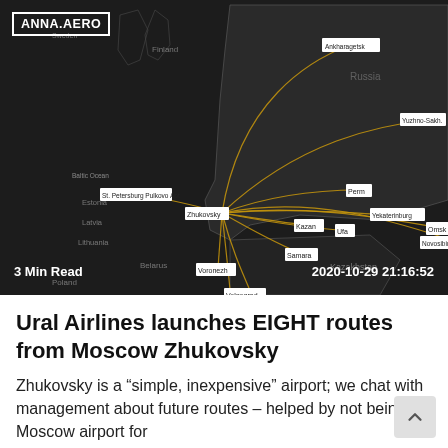[Figure (map): Dark map showing Russia and surrounding regions with flight routes radiating from Moscow Zhukovsky airport to multiple Russian cities including Ankharagetsk, St. Petersburg (Pulkovo), Perm, Yekaterinburg, Kazan, Ufa, Samara, Omsk, Novosibirsk, Yuzhno-Sakhalinsk, Voronezh, Volgograd, Sochi. Routes shown as golden/yellow curved lines on dark background.]
3 Min Read    2020-10-29 21:16:52
Ural Airlines launches EIGHT routes from Moscow Zhukovsky
Zhukovsky is a “simple, inexpensive” airport; we chat with management about future routes – helped by not being a Moscow airport for